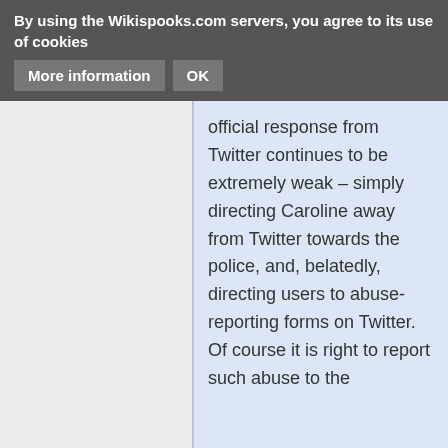By using the Wikispooks.com servers, you agree to its use of cookies   More information   OK
and seriousness of these threats, the official response from Twitter continues to be extremely weak – simply directing Caroline away from Twitter towards the police, and, belatedly, directing users to abuse-reporting forms on Twitter. Of course it is right to report such abuse to the